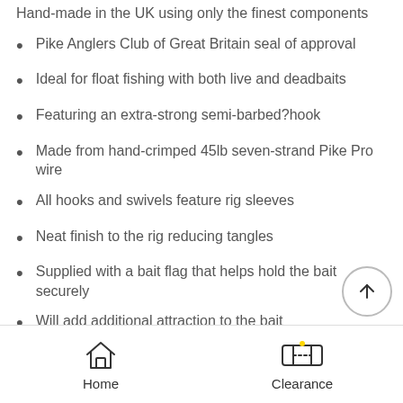Hand-made in the UK using only the finest components
Pike Anglers Club of Great Britain seal of approval
Ideal for float fishing with both live and deadbaits
Featuring an extra-strong semi-barbed?hook
Made from hand-crimped 45lb seven-strand Pike Pro wire
All hooks and swivels feature rig sleeves
Neat finish to the rig reducing tangles
Supplied with a bait flag that helps hold the bait securely
Will add additional attraction to the bait
Can be used in combination with Rotary Uptraces
Great when fishing float paternoster rigs
Home   Clearance